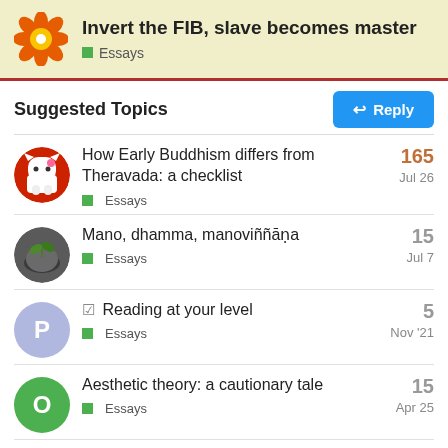Invert the FIB, slave becomes master
Essays
Suggested Topics
How Early Buddhism differs from Theravada: a checklist | Essays | Jul 26 | 165
Mano, dhamma, manoviññāṇa | Essays | Jul 7 | 15
☑ Reading at your level | Essays | Nov '21 | 5
Aesthetic theory: a cautionary tale | Essays | Apr 25 | 15
The Buddha would have believed…